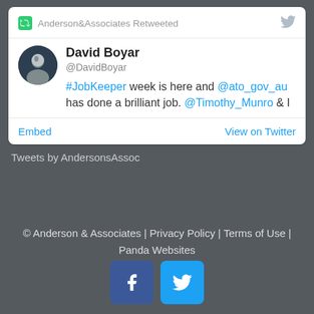[Figure (screenshot): Twitter/X embedded tweet card showing Anderson&Associates Retweeted David Boyar (@DavidBoyar) saying '#JobKeeper week is here and @ato_gov_au has done a brilliant job. @Timothy_Munro & I' with Embed and View on Twitter links]
Tweets by AndersonsAssoc
© Anderson & Associates | Privacy Policy | Terms of Use | Panda Websites
[Figure (illustration): Facebook and Twitter social media icon buttons]